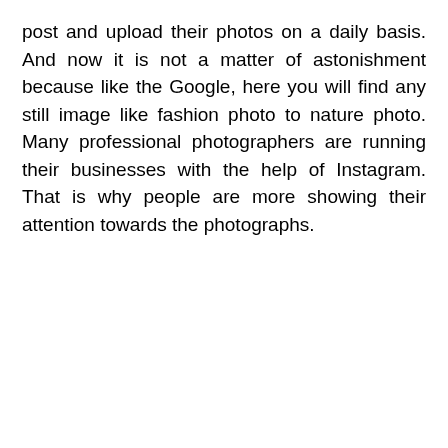post and upload their photos on a daily basis. And now it is not a matter of astonishment because like the Google, here you will find any still image like fashion photo to nature photo. Many professional photographers are running their businesses with the help of Instagram. That is why people are more showing their attention towards the photographs.